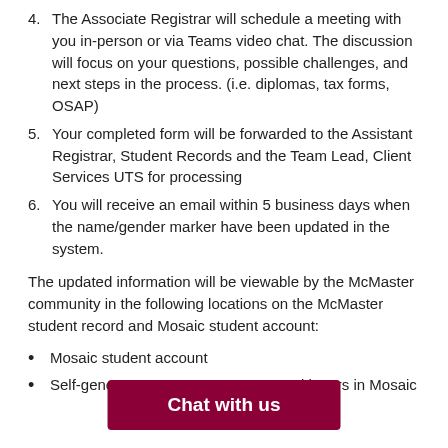4. The Associate Registrar will schedule a meeting with you in-person or via Teams video chat. The discussion will focus on your questions, possible challenges, and next steps in the process. (i.e. diplomas, tax forms, OSAP)
5. Your completed form will be forwarded to the Assistant Registrar, Student Records and the Team Lead, Client Services UTS for processing
6. You will receive an email within 5 business days when the name/gender marker have been updated in the system.
The updated information will be viewable by the McMaster community in the following locations on the McMaster student record and Mosaic student account:
Mosaic student account
Self-generated al letters in Mosaic